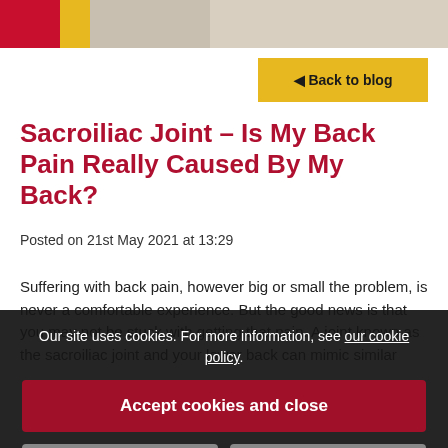[Figure (photo): Hero image at top of blog post, showing a person with red and yellow branding elements]
◄ Back to blog
Sacroiliac Joint – Is My Back Pain Really Caused By My Back?
Posted on 21st May 2021 at 13:29
Suffering with back pain, however big or small the problem, is never a comfortable experience. But the good news is that you may not be stuck with getting that pain. A joint known as the sacroiliac joint and your lower back can mimic similar
Our site uses cookies. For more information, see our cookie policy.
Accept cookies and close
Reject cookies
Manage settings
So how do you know just... them?
What is the Sacroiliac Joint?